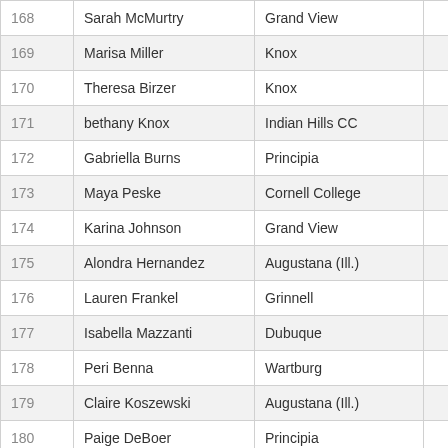| Place | Name | School | Time | Pts |
| --- | --- | --- | --- | --- |
| 168 | Sarah McMurtry | Grand View | 32:11.5 | 86 |
| 169 | Marisa Miller | Knox | 32:14.3 | 87 |
| 170 | Theresa Birzer | Knox | 32:18.7 | 88 |
| 171 | bethany Knox | Indian Hills CC | 32:27.5 | 89 |
| 172 | Gabriella Burns | Principia | 32:30.3 | 90 |
| 173 | Maya Peske | Cornell College | 32:31.8 |  |
| 174 | Karina Johnson | Grand View | 32:33.0 |  |
| 175 | Alondra Hernandez | Augustana (Ill.) | 32:34.2 |  |
| 176 | Lauren Frankel | Grinnell | 32:38.3 |  |
| 177 | Isabella Mazzanti | Dubuque | 32:53.3 |  |
| 178 | Peri Benna | Wartburg | 33:01.2 |  |
| 179 | Claire Koszewski | Augustana (Ill.) | 33:04.6 |  |
| 180 | Paige DeBoer | Principia | 33:05.0 | 91 |